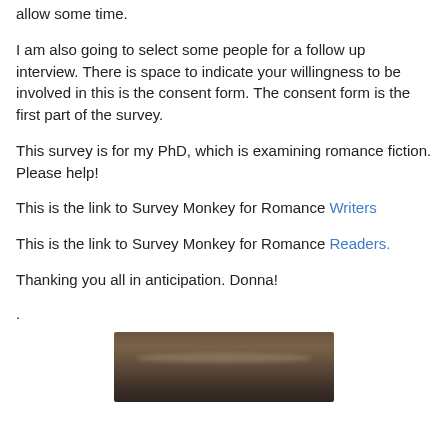allow some time.
I am also going to select some people for a follow up interview. There is space to indicate your willingness to be involved in this is the consent form. The consent form is the first part of the survey.
This survey is for my PhD, which is examining romance fiction. Please help!
This is the link to Survey Monkey for Romance Writers
This is the link to Survey Monkey for Romance Readers.
Thanking you all in anticipation. Donna!
.
[Figure (photo): Partially visible photograph, appears to show a dark sepia-toned image, possibly a person wearing a hat, cropped at the bottom of the page.]